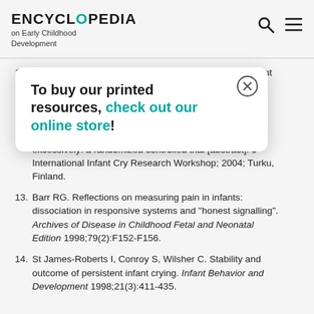ENCYCLOPEDIA on Early Childhood Development
[Figure (other): Popup modal: 'To buy our printed resources, check out our online store!' with close button]
11. Hu[...] Infant mo[...] ent of co[...]
12. va[...] n TWJ, Ku[...] y excessively: a randomized controlled trial [abstract]. 9th International Infant Cry Research Workshop; 2004; Turku, Finland.
13. Barr RG. Reflections on measuring pain in infants: dissociation in responsive systems and "honest signalling". Archives of Disease in Childhood Fetal and Neonatal Edition 1998;79(2):F152-F156.
14. St James-Roberts I, Conroy S, Wilsher C. Stability and outcome of persistent infant crying. Infant Behavior and Development 1998;21(3):411-435.